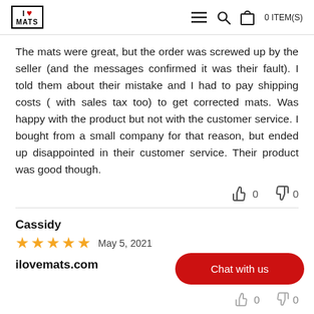I LOVE MATS | 0 ITEM(S)
The mats were great, but the order was screwed up by the seller (and the messages confirmed it was their fault). I told them about their mistake and I had to pay shipping costs ( with sales tax too) to get corrected mats. Was happy with the product but not with the customer service. I bought from a small company for that reason, but ended up disappointed in their customer service. Their product was good though.
Cassidy
May 5, 2021
ilovemats.com
Chat with us